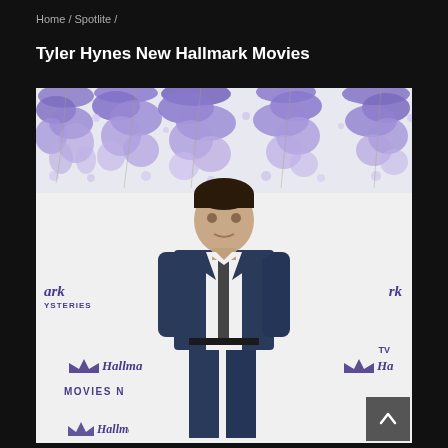Home / Spotlite /
Tyler Hynes New Hallmark Movies
[Figure (photo): Tyler Hynes standing in a navy blue suit with a dark tie and white shirt, posing in front of a Hallmark step-and-repeat banner with purple wisteria flowers in the background. The banner shows Hallmark Mysteries, Hallmark Movies Now, and other Hallmark logos.]